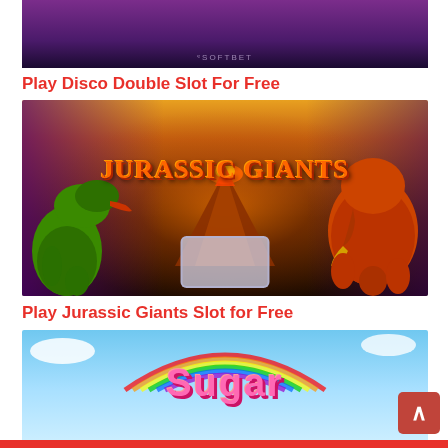[Figure (screenshot): Top portion of Disco Double slot game promotional image with purple background and eSoftBet branding]
Play Disco Double Slot For Free
[Figure (screenshot): Jurassic Giants slot game promotional image showing a green T-Rex dinosaur on the left, a woolly mammoth on the right, a volcano in the center, and the title 'JURASSIC GIANTS' displayed prominently with warm sunset colors]
Play Jurassic Giants Slot for Free
[Figure (screenshot): Sugar pop/candy themed slot game promotional image with light blue sky, rainbow, and pink 'Sugar' text logo with colorful candy elements]